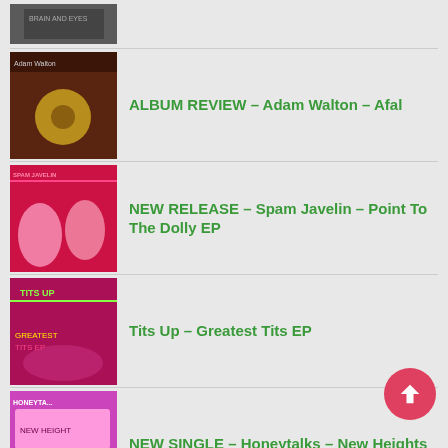[Figure (photo): Partial album cover thumbnail at top, dark grey tones]
ALBUM REVIEW – Adam Walton – Afal
NEW RELEASE – Spam Javelin – Point To The Dolly EP
Tits Up – Greatest Tits EP
NEW SINGLE – Honeytalks – New Heights
NEW ALBUM – Andy Bob Beaumont – Prophets Of Doom
NEW LP – Skinflick – We Could Have Reached For The Stars But We Reached For Our Dicks